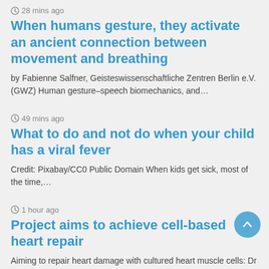28 mins ago
When humans gesture, they activate an ancient connection between movement and breathing
by Fabienne Salfner, Geisteswissenschaftliche Zentren Berlin e.V. (GWZ) Human gesture–speech biomechanics, and…
49 mins ago
What to do and not do when your child has a viral fever
Credit: Pixabay/CC0 Public Domain When kids get sick, most of the time,…
1 hour ago
Project aims to achieve cell-based heart repair
Aiming to repair heart damage with cultured heart muscle cells: Dr Robert…
1 hour ago